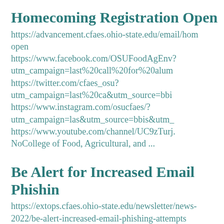Homecoming Registration Open
https://advancement.cfaes.ohio-state.edu/email/hom open
https://www.facebook.com/OSUFoodAgEnv?
utm_campaign=last%20call%20for%20alum
https://twitter.com/cfaes_osu?
utm_campaign=last%20ca&utm_source=bbi
https://www.instagram.com/osucfaes/?
utm_campaign=las&utm_source=bbis&utm_
https://www.youtube.com/channel/UC9zTurj.
NoCollege of Food, Agricultural, and ...
Be Alert for Increased Email Phishin
https://extops.cfaes.ohio-state.edu/newsletter/news-2022/be-alert-increased-email-phishing-attempts